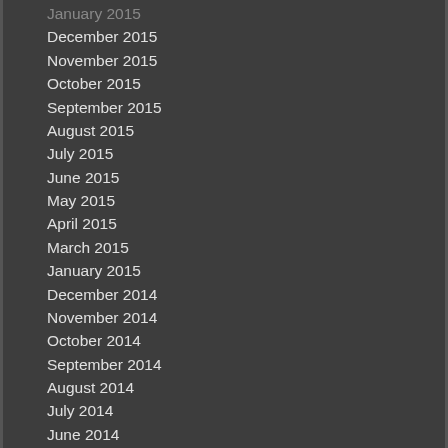January 2015
December 2015
November 2015
October 2015
September 2015
August 2015
July 2015
June 2015
May 2015
April 2015
March 2015
January 2015
December 2014
November 2014
October 2014
September 2014
August 2014
July 2014
June 2014
May 2014
April 2014
March 2014